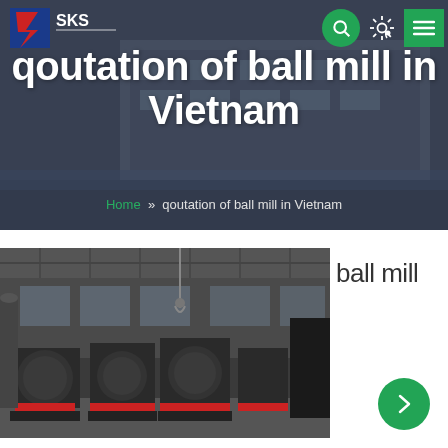SKS
qoutation of ball mill in Vietnam
Home » qoutation of ball mill in Vietnam
[Figure (photo): Industrial ball mill machinery inside a large factory/workshop, showing multiple large grinding mill units with red accents on the base frames, arranged in rows inside a steel-structure building.]
ball mill